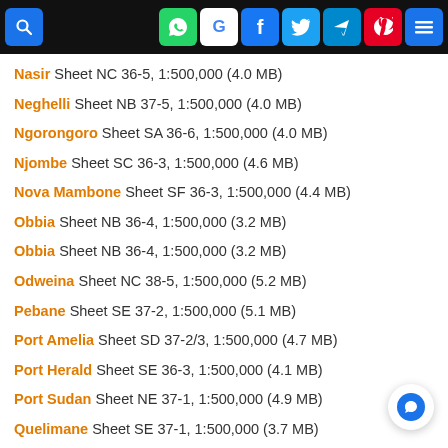Navigation bar with search, WhatsApp, Google, Facebook, Twitter, Telegram, Pinterest, and menu icons
Nasir Sheet NC 36-5, 1:500,000 (4.0 MB)
Neghelli Sheet NB 37-5, 1:500,000 (4.0 MB)
Ngorongoro Sheet SA 36-6, 1:500,000 (4.0 MB)
Njombe Sheet SC 36-3, 1:500,000 (4.6 MB)
Nova Mambone Sheet SF 36-3, 1:500,000 (4.4 MB)
Obbia Sheet NB 36-4, 1:500,000 (3.2 MB)
Obbia Sheet NB 36-4, 1:500,000 (3.2 MB)
Odweina Sheet NC 38-5, 1:500,000 (5.2 MB)
Pebane Sheet SE 37-2, 1:500,000 (5.1 MB)
Port Amelia Sheet SD 37-2/3, 1:500,000 (4.7 MB)
Port Herald Sheet SE 36-3, 1:500,000 (4.1 MB)
Port Sudan Sheet NE 37-1, 1:500,000 (4.9 MB)
Quelimane Sheet SE 37-1, 1:500,000 (3.7 MB)
Rachad Sheet NC 36-1, 1:500,000 (4.3 MB)